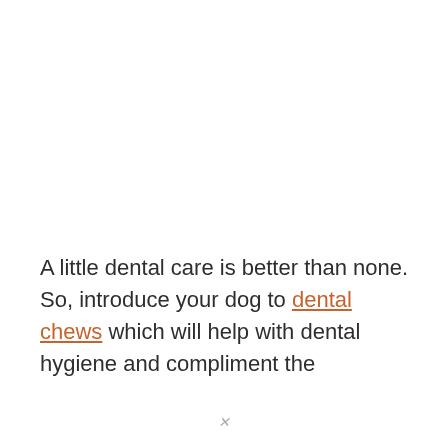A little dental care is better than none. So, introduce your dog to dental chews which will help with dental hygiene and compliment the